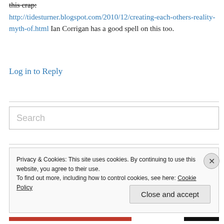this crap:
http://tidesturner.blogspot.com/2010/12/creating-each-others-reality-myth-of.html Ian Corrigan has a good spell on this too.
Log in to Reply
Search
Privacy & Cookies: This site uses cookies. By continuing to use this website, you agree to their use.
To find out more, including how to control cookies, see here: Cookie Policy
Close and accept